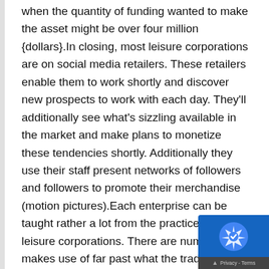when the quantity of funding wanted to make the asset might be over four million {dollars}.In closing, most leisure corporations are on social media retailers. These retailers enable them to work shortly and discover new prospects to work with each day. They'll additionally see what's sizzling available in the market and make plans to monetize these tendencies shortly. Additionally they use their staff present networks of followers and followers to promote their merchandise (motion pictures).Each enterprise can be taught rather a lot from the practices of leisure corporations. There are numerous makes use of far past what the traditional companies use them to do. A enterprise may recruit new staff by way of the sys they may additionally check new merchandise ea than allocating funds for these merchandise, they